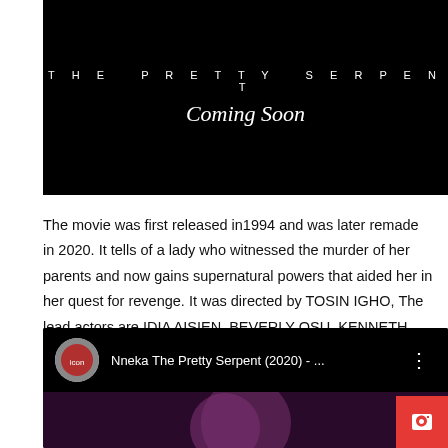[Figure (photo): Movie poster for 'The Pretty Serpent' on black background with title text and 'Coming Soon' cursive text]
The movie was first released in1994 and was later remade in 2020. It tells of a lady who witnessed the murder of her parents and now gains supernatural powers that aided her in her quest for revenge. It was directed by TOSIN IGHO, The lead actors are IDIA AISIEN, BEVERLY OSU, KENNETH OKOLI AND NDIDI OBI
[Figure (screenshot): YouTube video embed showing 'Nneka The Pretty Serpent (2020) - ...' with channel icon, video title, and preview thumbnail showing a person's face with purple/dark background]